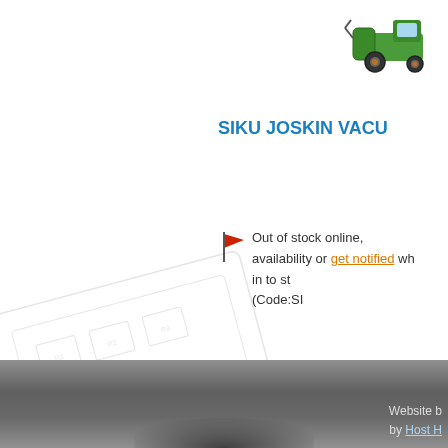[Figure (photo): Green and orange toy tractor/farm vehicle product image in top right corner]
SIKU JOSKIN VACU
Out of stock online, availability or get notified wh in to st (Code:SI
Price: €
Displaying items
Website by Host